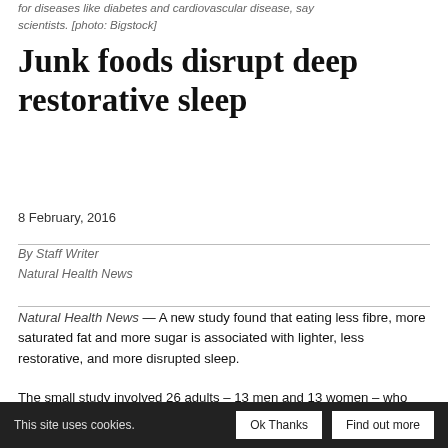for diseases like diabetes and cardiovascular disease, say scientists. [photo: Bigstock]
Junk foods disrupt deep restorative sleep
8 February, 2016
By Staff Writer
Natural Health News
Natural Health News — A new study found that eating less fibre, more saturated fat and more sugar is associated with lighter, less restorative, and more disrupted sleep.
The small study involved 26 adults – 13 men and 13 women – who had a normal weight and an average age of 35 years.
This site uses cookies.  Ok Thanks  Find out more